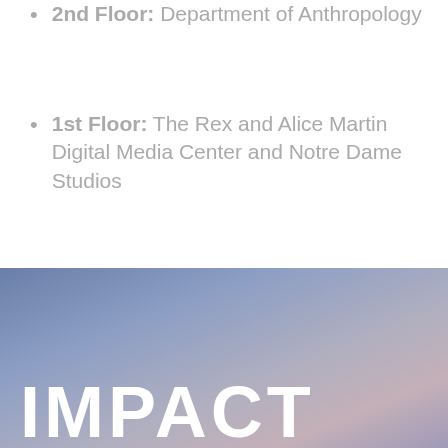2nd Floor: Department of Anthropology
1st Floor: The Rex and Alice Martin Digital Media Center and Notre Dame Studios
[Figure (photo): Gradient sky background image transitioning from blue-grey at top to muted purple-pink at bottom, used as background for the lower section of the page]
IMPACT